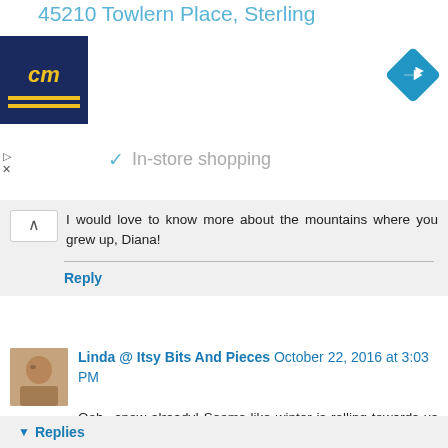45210 Towlern Place, Sterling
[Figure (logo): CM logo - dark blue square with yellow 'cm' text and yellow double underline]
[Figure (other): Blue diamond navigation/directions icon with white right arrow]
In-store shopping
I would love to know more about the mountains where you grew up, Diana!
Reply
Linda @ Itsy Bits And Pieces October 22, 2016 at 3:03 PM
Ooh...snow already! Seems like winter is rolling towards us quickly now. So pretty there...it's still pretty colorful here, but will be bare by Halloween.
Your home always feels like a cozy place! Hope your sweetie is doing better!
Reply
Replies